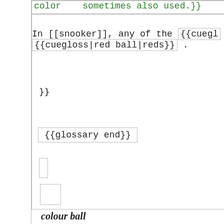color   sometimes also used.}}
In [[snooker]], any of the {{cuegl {{cuegloss|red ball|reds}} .
}}
{{glossary end}}
colour ball